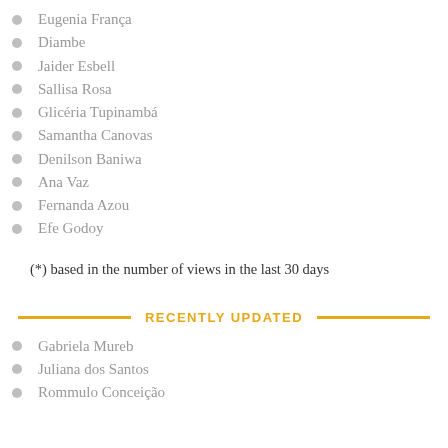Eugenia França
Diambe
Jaider Esbell
Sallisa Rosa
Glicéria Tupinambá
Samantha Canovas
Denilson Baniwa
Ana Vaz
Fernanda Azou
Efe Godoy
(*) based in the number of views in the last 30 days
RECENTLY UPDATED
Gabriela Mureb
Juliana dos Santos
Rommulo Conceição